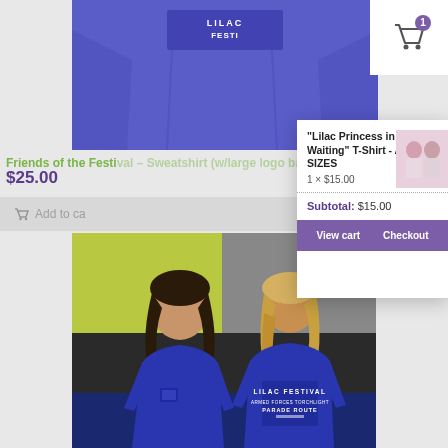[Figure (photo): Blue Lilac Festival sweatshirt with logo on back, worn by a person, cropped view showing torso]
Friends of the Festival – Sweatshirt (w/large logo back)
$25.00
Add to cart
[Figure (screenshot): Shopping cart popup showing 'Lilac Princess in Waiting' T-Shirt - ADULT SIZES, 1 x $15.00, Subtotal: $15.00, with View cart and Checkout buttons]
"Lilac Princess in Waiting" T-Shirt - ADULT SIZES
1 × $15.00
Subtotal: $15.00
View cart
Checkout
[Figure (photo): Two young women wearing royal blue Lilac Festival sweatshirts, one facing front and one showing the back with LILAC FESTIVAL ARMED FORCES TORCHLIGHT PARADE ROUTE text]